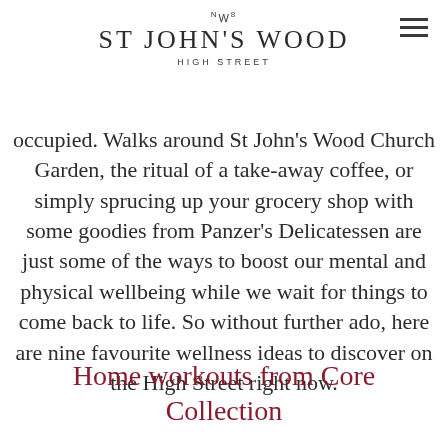NW8 ST JOHN'S WOOD HIGH STREET
occupied. Walks around St John's Wood Church Garden, the ritual of a take-away coffee, or simply sprucing up your grocery shop with some goodies from Panzer's Delicatessen are just some of the ways to boost our mental and physical wellbeing while we wait for things to come back to life. So without further ado, here are nine favourite wellness ideas to discover on the High Street right now.
Home workouts from Core Collection